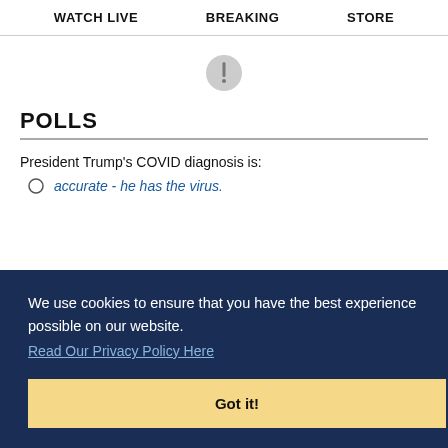WATCH LIVE   BREAKING   STORE
[Figure (other): Small circular icon with a vertical line/bar in the center, gray background]
POLLS
President Trump's COVID diagnosis is:
accurate - he has the virus.
We use cookies to ensure that you have the best experience possible on our website. Read Our Privacy Policy Here
Got it!